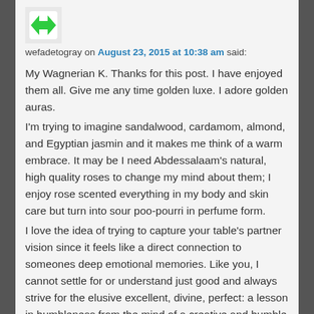[Figure (logo): Green and white avatar/logo icon with arrow-like shapes]
wefadetogray on August 23, 2015 at 10:38 am said:
My Wagnerian K. Thanks for this post. I have enjoyed them all. Give me any time golden luxe. I adore golden auras.
I'm trying to imagine sandalwood, cardamom, almond, and Egyptian jasmin and it makes me think of a warm embrace. It may be I need Abdessalaam's natural, high quality roses to change my mind about them; I enjoy rose scented everything in my body and skin care but turn into sour poo-pourri in perfume form.
I love the idea of trying to capture your table's partner vision since it feels like a direct connection to someones deep emotional memories. Like you, I cannot settle for or understand just good and always strive for the elusive excellent, divine, perfect: a lesson in humbleness from the mind of a creative and humble man. Ayyyy.
Hugs to you my dearest.